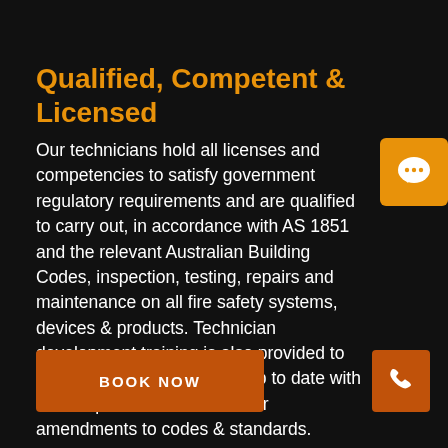Qualified, Competent & Licensed
Our technicians hold all licenses and competencies to satisfy government regulatory requirements and are qualified to carry out, in accordance with AS 1851 and the relevant Australian Building Codes, inspection, testing, repairs and maintenance on all fire safety systems, devices & products. Technician development training is also provided to ensure our technicians are up to date with all new products & services or amendments to codes & standards.
[Figure (illustration): Orange speech/chat bubble icon on orange square background in top right corner]
BOOK NOW
[Figure (illustration): White phone handset icon on orange/brown rectangular button in bottom right corner]